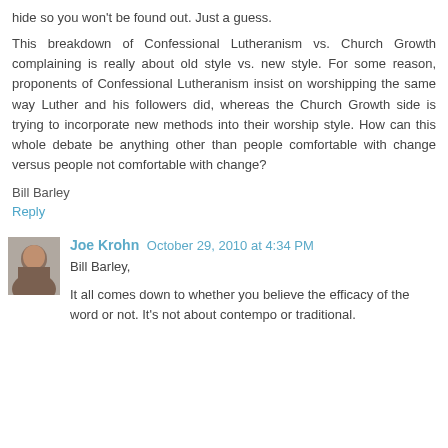hide so you won't be found out. Just a guess.
This breakdown of Confessional Lutheranism vs. Church Growth complaining is really about old style vs. new style. For some reason, proponents of Confessional Lutheranism insist on worshipping the same way Luther and his followers did, whereas the Church Growth side is trying to incorporate new methods into their worship style. How can this whole debate be anything other than people comfortable with change versus people not comfortable with change?
Bill Barley
Reply
Joe Krohn  October 29, 2010 at 4:34 PM
Bill Barley,
It all comes down to whether you believe the efficacy of the word or not. It's not about contempo or traditional.